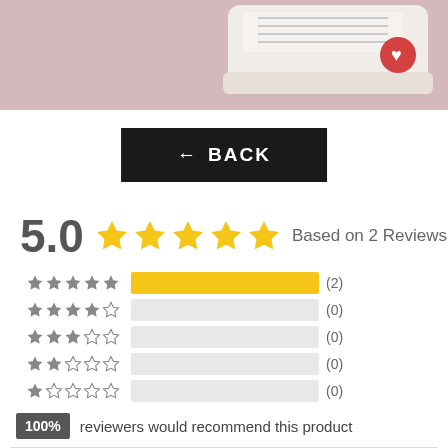[Figure (photo): Photo of white Converse sneaker with red logo on pink background]
← BACK
5.0 ★★★★★ Based on 2 Reviews
[Figure (bar-chart): Star rating distribution]
100% reviewers would recommend this product